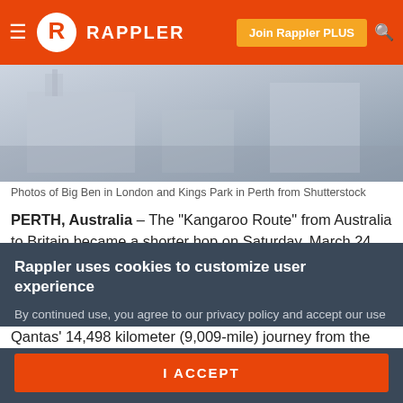RAPPLER — Join Rappler PLUS
[Figure (photo): Composite photo showing Big Ben in London and Kings Park in Perth, washed-out/faded tones]
Photos of Big Ben in London and Kings Park in Perth from Shutterstock
PERTH, Australia – The "Kangaroo Route" from Australia to Britain became a shorter hop on Saturday, March 24, when the first direct passenger service left Perth for London, with the 17-hour flight set to break aviation records.
Qantas' 14,498 kilometer (9,009-mile) journey from the
Rappler uses cookies to customize user experience
By continued use, you agree to our privacy policy and accept our use of such cookies. For further information, click find out more
I ACCEPT